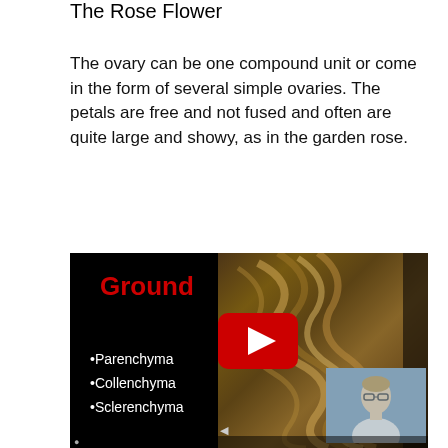The Rose Flower
The ovary can be one compound unit or come in the form of several simple ovaries. The petals are free and not fused and often are quite large and showy, as in the garden rose.
[Figure (screenshot): Video thumbnail showing a biology lesson slide with 'Ground' in red text, bullet points listing Parenchyma, Collenchyma, Sclerenchyma in white on black background, a YouTube play button overlay, a rope/knot image on the right, and a small inset thumbnail of a young man speaking.]